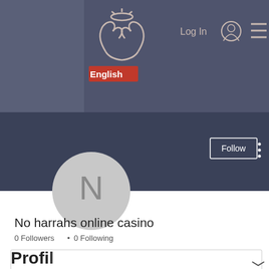[Figure (screenshot): Website header with logo (hands holding halo icon), Log In text, user icon, and hamburger menu on dark blue-grey background. English language selector visible below.]
[Figure (screenshot): User profile section with dark navy background, Follow button, three-dot menu, circular avatar with letter N, username 'No harrahs online casino', 0 Followers • 0 Following stats, a dropdown box with chevron, and truncated 'Profile' section header at bottom.]